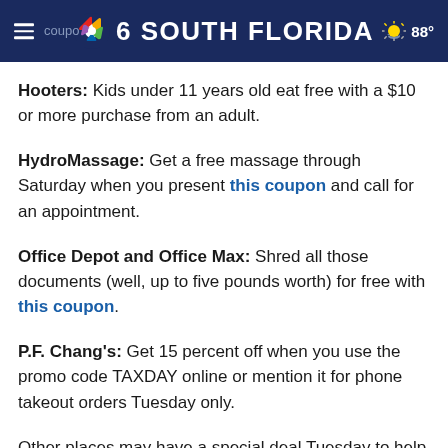NBC 6 South Florida — 88°
Hooters: Kids under 11 years old eat free with a $10 or more purchase from an adult.
HydroMassage: Get a free massage through Saturday when you present this coupon and call for an appointment.
Office Depot and Office Max: Shred all those documents (well, up to five pounds worth) for free with this coupon.
P.F. Chang's: Get 15 percent off when you use the promo code TAXDAY online or mention it for phone takeout orders Tuesday only.
Other places may have a special deal Tuesday to help save